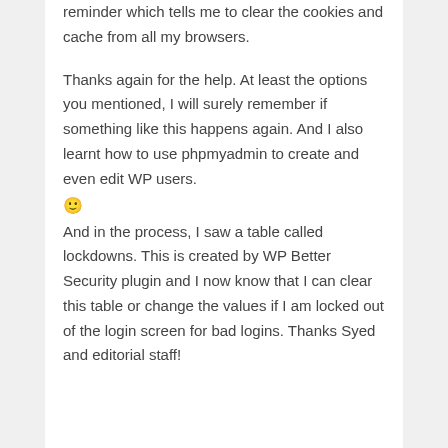reminder which tells me to clear the cookies and cache from all my browsers.
Thanks again for the help. At least the options you mentioned, I will surely remember if something like this happens again. And I also learnt how to use phpmyadmin to create and even edit WP users. 🙂 And in the process, I saw a table called lockdowns. This is created by WP Better Security plugin and I now know that I can clear this table or change the values if I am locked out of the login screen for bad logins. Thanks Syed and editorial staff!